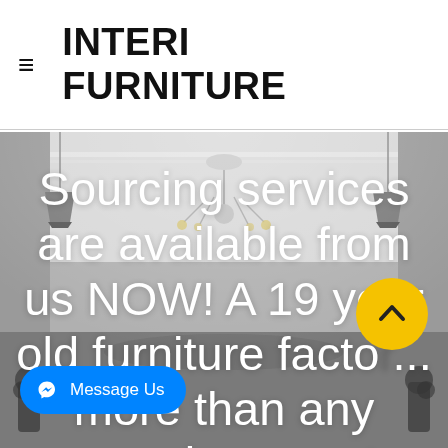INTERI FURNITURE
[Figure (photo): Interior room photo showing a dining/living room with chandelier, decorative ceiling, and pendant lights, used as hero background image]
Sourcing services are available from us NOW! A 19 year old furniture facto... more than any sourcing agent